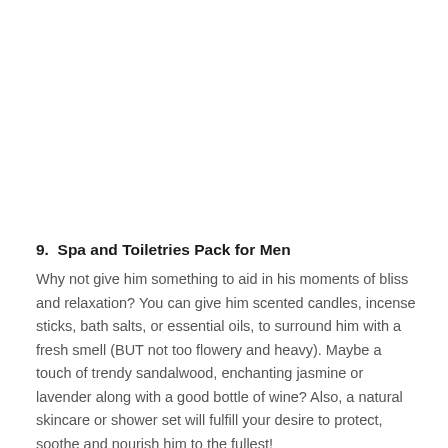9.  Spa and Toiletries Pack for Men
Why not give him something to aid in his moments of bliss and relaxation? You can give him scented candles, incense sticks, bath salts, or essential oils, to surround him with a fresh smell (BUT not too flowery and heavy). Maybe a touch of trendy sandalwood, enchanting jasmine or lavender along with a good bottle of wine? Also, a natural skincare or shower set will fulfill your desire to protect, soothe and nourish him to the fullest!